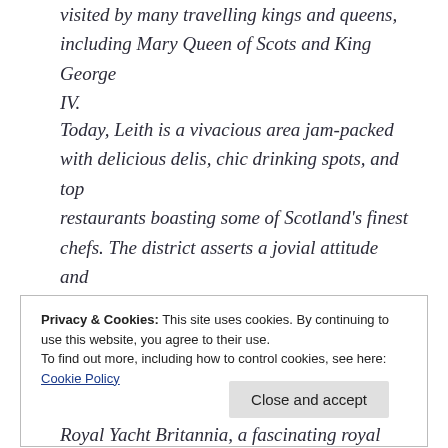visited by many travelling kings and queens, including Mary Queen of Scots and King George IV.
Today, Leith is a vivacious area jam-packed with delicious delis, chic drinking spots, and top restaurants boasting some of Scotland's finest chefs. The district asserts a jovial attitude and hosts an eclectic mix of people and cultures, making each a visit a unique experience.
Privacy & Cookies: This site uses cookies. By continuing to use this website, you agree to their use.
To find out more, including how to control cookies, see here: Cookie Policy
Close and accept
Royal Yacht Britannia, a fascinating royal